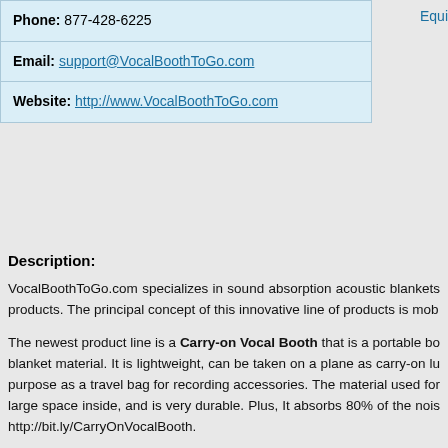| Phone: 877-428-6225 |
| Email: support@VocalBoothToGo.com |
| Website: http://www.VocalBoothToGo.com |
Equi
Description:
VocalBoothToGo.com specializes in sound absorption acoustic blankets products. The principal concept of this innovative line of products is mob
The newest product line is a Carry-on Vocal Booth that is a portable bo blanket material. It is lightweight, can be taken on a plane as carry-on lu purpose as a travel bag for recording accessories. The material used for large space inside, and is very durable. Plus, It absorbs 80% of the nois http://bit.ly/CarryOnVocalBooth.
Our signature product, Producer's choice Sound Blankets, has earned "people in the know." Each blanket has a double filler of recycled cotton with soft non-shiny fabric on the outside to reduce sound reflections. De http://bit.ly/SoundBlankets